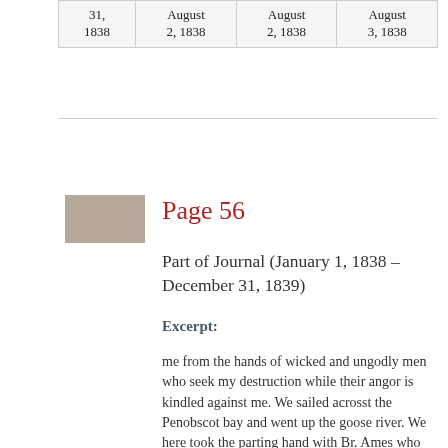| 31,
1838 | August
2, 1838 | August
2, 1838 | August
3, 1838 |
Page 56
Part of Journal (January 1, 1838 – December 31, 1839)
Excerpt:
me from the hands of wicked and ungodly men who seek my destruction while their angor is kindled against me. We sailed acrosst the Penobscot bay and went up the goose river. We here took the parting hand with Br. Ames who returned home while walked to James Andrews, who is ingaged in making the baggage waggons for Brother Nathaniel Thomas & the saints to journey to the land of Zion with